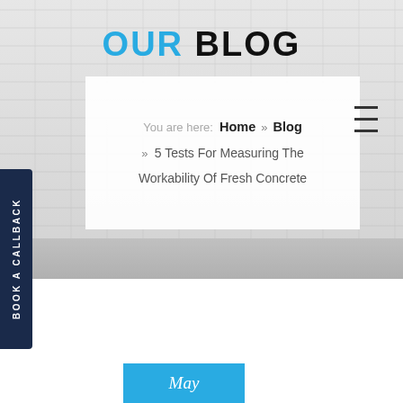OUR BLOG
You are here: Home » Blog » 5 Tests For Measuring The Workability Of Fresh Concrete
BOOK A CALLBACK
May